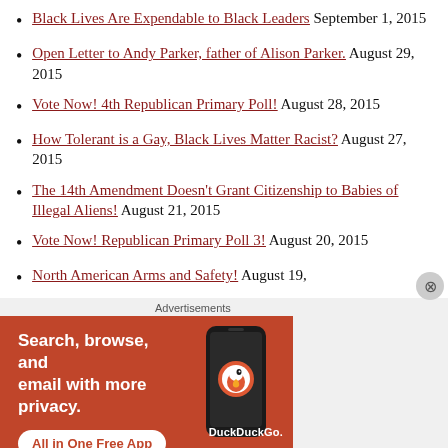Black Lives Are Expendable to Black Leaders September 1, 2015
Open Letter to Andy Parker, father of Alison Parker. August 29, 2015
Vote Now! 4th Republican Primary Poll! August 28, 2015
How Tolerant is a Gay, Black Lives Matter Racist? August 27, 2015
The 14th Amendment Doesn't Grant Citizenship to Babies of Illegal Aliens! August 21, 2015
Vote Now! Republican Primary Poll 3! August 20, 2015
North American Arms and Safety! August 19,
Advertisements
[Figure (infographic): DuckDuckGo advertisement banner: orange background with text 'Search, browse, and email with more privacy. All in One Free App' and a phone graphic with DuckDuckGo logo]